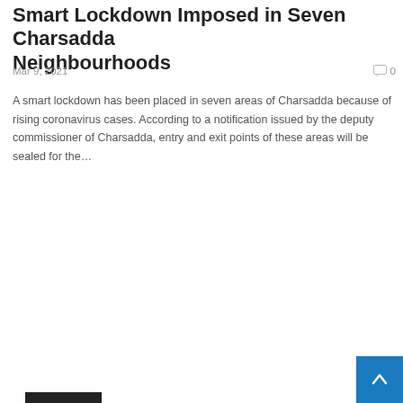Smart Lockdown Imposed in Seven Charsadda Neighbourhoods
Mar 9, 2021
0
A smart lockdown has been placed in seven areas of Charsadda because of rising coronavirus cases. According to a notification issued by the deputy commissioner of Charsadda, entry and exit points of these areas will be sealed for the…
READ MORE...
HEALTH
[Figure (photo): A photo with a HEALTH category tag overlay in the top-left corner. The image shows a light blue-grey toned composition with decorative swirl patterns on the left side and a lighter central panel, suggesting a health or medical themed image.]